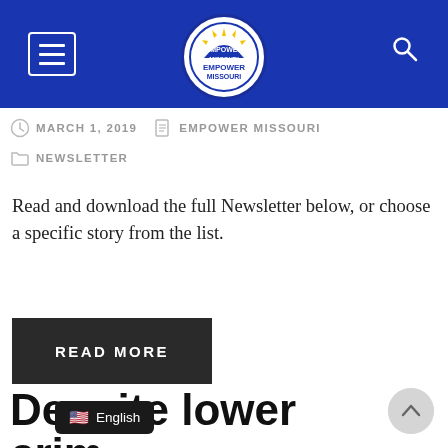Empower Missouri
MARCH 1, 2019   EMPOWER MISSOURI
NEWSLETTER
Read and download the full Newsletter below, or choose a specific story from the list.
READ MORE
Despite lower crim r our prison